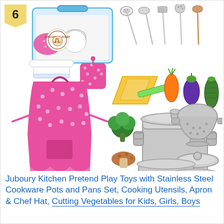[Figure (photo): Product photo of Juboury Kitchen Pretend Play Toys set including stainless steel cookware pots and pans, cooking utensils (ladle, slotted spoon, spatula, masher, wooden spoon), a pink polka-dot apron, chef hat, pot holder, toy vegetables (broccoli, mushroom, pumpkin, carrot, eggplant, zucchini, cut fruit), and a storage container with Kitchen Playset branding. Number badge '6' in yellow at top-left.]
Juboury Kitchen Pretend Play Toys with Stainless Steel Cookware Pots and Pans Set, Cooking Utensils, Apron & Chef Hat, Cutting Vegetables for Kids, Girls, Boys...